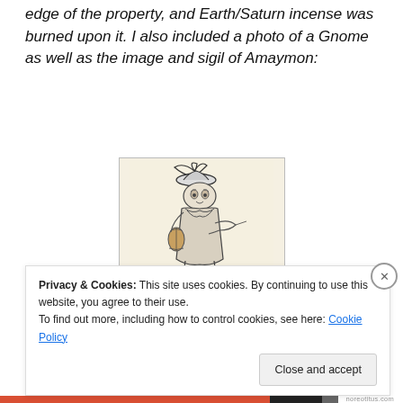edge of the property, and Earth/Saturn incense was burned upon it.  I also included a photo of a Gnome as well as the image and sigil of Amaymon:
[Figure (illustration): Black and white illustration of a gnome-like figure playing violin, wearing a hat with feathers, in a sketched/engraving style]
Gnome
[Figure (illustration): Broken/missing image placeholder labeled 'Amaymon']
Privacy & Cookies: This site uses cookies. By continuing to use this website, you agree to their use.
To find out more, including how to control cookies, see here: Cookie Policy
Close and accept